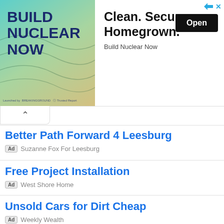[Figure (infographic): Banner advertisement for Build Nuclear Now. Left side shows teal/green background with bold dark blue text 'BUILD NUCLEAR NOW'. Right side shows 'Clean. Secure. Homegrown.' headline with 'Open' button and 'Build Nuclear Now' subtitle. Navigation icons top-right.]
Better Path Forward 4 Leesburg
Ad  Suzanne Fox For Leesburg
Free Project Installation
Ad  West Shore Home
Unsold Cars for Dirt Cheap
Ad  Weekly Wealth
Baz Luhrmann's Elvis
Ad  Warner Bros. Discovery